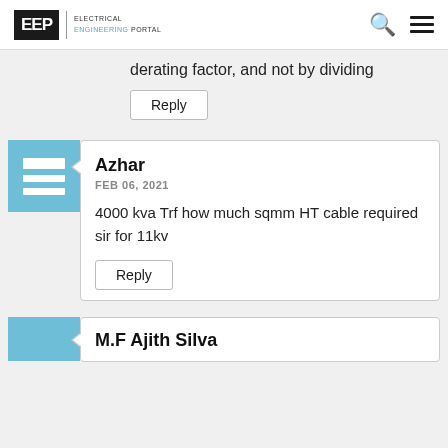EEP | ELECTRICAL ENGINEERING PORTAL
derating factor, and not by dividing
Reply
Azhar
FEB 06, 2021
4000 kva Trf how much sqmm HT cable required sir for 11kv
Reply
M.F Ajith Silva